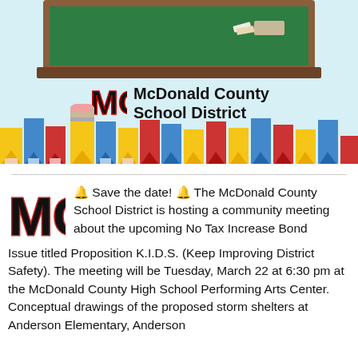[Figure (illustration): McDonald County School District banner with chalkboard at top, district logo/name in center, and colorful pencils along the bottom on a light blue background]
🔔 Save the date! 🔔 The McDonald County School District is hosting a community meeting about the upcoming No Tax Increase Bond Issue titled Proposition K.I.D.S. (Keep Improving District Safety). The meeting will be Tuesday, March 22 at 6:30 pm at the McDonald County High School Performing Arts Center. Conceptual drawings of the proposed storm shelters at Anderson Elementary, Anderson